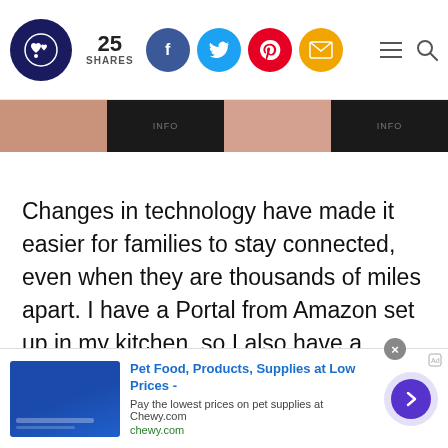25 SHARES
[Figure (photo): Partial image strip showing skin-toned and dark sections with 'info' labels]
Changes in technology have made it easier for families to stay connected, even when they are thousands of miles apart. I have a Portal from Amazon set up in my kitchen, so I also have a selection of children's read-aloud books.
I can read a story (sometimes two or three) to
[Figure (screenshot): Advertisement banner: Pet Food, Products, Supplies at Low Prices - Pay the lowest prices on pet supplies at Chewy.com, chewy.com]